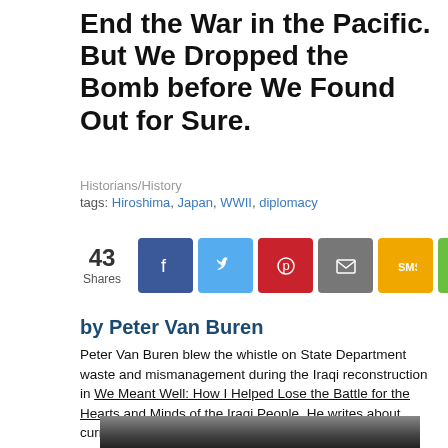End the War in the Pacific. But We Dropped the Bomb before We Found Out for Sure.
Historians/History
tags: Hiroshima, Japan, WWII, diplomacy
[Figure (other): Social share bar with 43 Shares count and buttons for Facebook, Twitter, Pinterest, Email, SMS, and generic share]
by Peter Van Buren
Peter Van Buren blew the whistle on State Department waste and mismanagement during the Iraqi reconstruction in We Meant Well: How I Helped Lose the Battle for the Hearts and Minds of the Iraqi People. He writes about current events a We Meant Well. His latest book is Hooper's War, an anti-war novel.
[Figure (photo): Black and white historical photo, partial view at bottom of page]